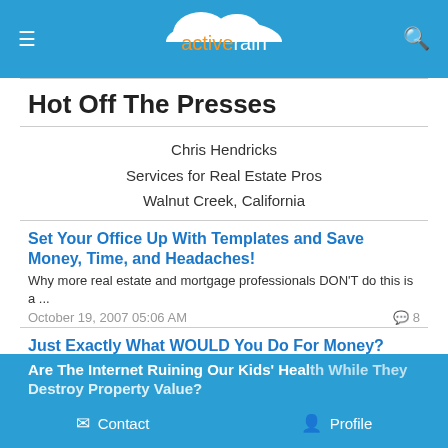activerain
Hot Off The Presses
Chris Hendricks
Services for Real Estate Pros
Walnut Creek, California
Set Your Office Up With Templates and Save Money, Time, and Headaches!
Why more real estate and mortgage professionals DON'T do this is a ...
October 19, 2007 05:06 AM  8
Just Exactly What WOULD You Do For Money?
I've been reflecting on this all morning.  It's Sunday morning here...
October 07, 2007 06:13 AM  20
Visit With Us At The California Association of REALTORS® Expo
Anybody heading off to Anaheim next week to the California Associat...
October 06, 2007 08:56 AM  2
Are The Internet Ruining Our Kids' Health While They Destroy Property Value?
Contact  Profile